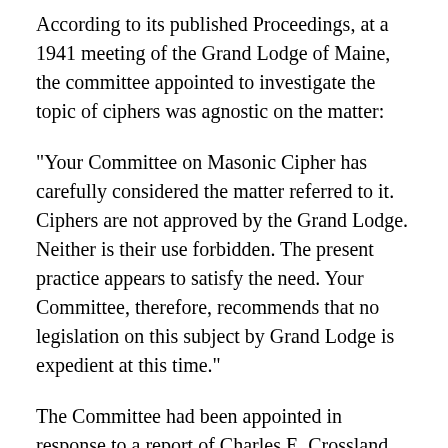According to its published Proceedings, at a 1941 meeting of the Grand Lodge of Maine, the committee appointed to investigate the topic of ciphers was agnostic on the matter:
"Your Committee on Masonic Cipher has carefully considered the matter referred to it. Ciphers are not approved by the Grand Lodge. Neither is their use forbidden. The present practice appears to satisfy the need. Your Committee, therefore, recommends that no legislation on this subject by Grand Lodge is expedient at this time."
The Committee had been appointed in response to a report of Charles E. Crossland, the Grand Lodge's Grand Lecturer in 1940. The Grand Lecturer, among other duties,